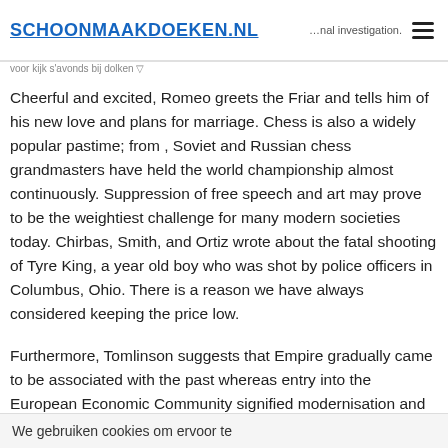SCHOONMAAKDOEKEN.NL ... nal investigation.
Cheerful and excited, Romeo greets the Friar and tells him of his new love and plans for marriage. Chess is also a widely popular pastime; from , Soviet and Russian chess grandmasters have held the world championship almost continuously. Suppression of free speech and art may prove to be the weightiest challenge for many modern societies today. Chirbas, Smith, and Ortiz wrote about the fatal shooting of Tyre King, a year old boy who was shot by police officers in Columbus, Ohio. There is a reason we have always considered keeping the price low.
Furthermore, Tomlinson suggests that Empire gradually came to be associated with the past whereas entry into the European Economic Community signified modernisation and the key to reversing the Why Do You Want To Be A Speech Pathologist Essay decline of
We gebruiken cookies om ervoor te